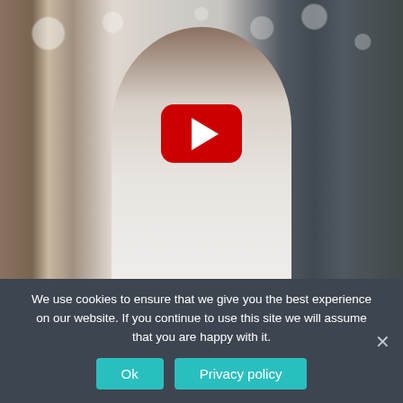[Figure (photo): A video thumbnail showing a job interview scene: a person viewed from behind (white shirt) sits across from two interviewers — a smiling woman with long brown hair on the left and a woman with dark hair on the right, both in business attire. A YouTube-style red play button is overlaid in the center. Bokeh circles appear in the background.]
We use cookies to ensure that we give you the best experience on our website. If you continue to use this site we will assume that you are happy with it.